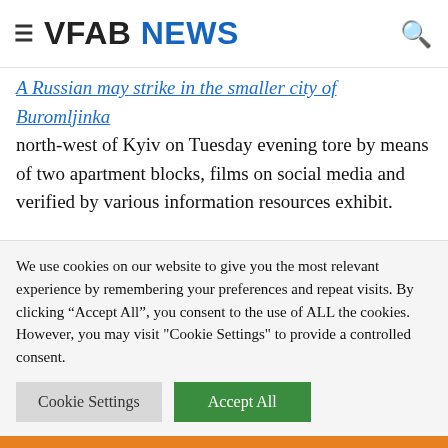VFAB NEWS
Russian cruise missile, a homing up format said A Russian may strike in the smaller city of Buromljinka north-west of Kyiv on Tuesday evening tore by means of two apartment blocks, films on social media and verified by various information resources exhibit.
Russian troops have landed in Kharkiv, according to the Safety Company of Ukraine. The troops reportedly attacked a armed forces medical center.
We use cookies on our website to give you the most relevant experience by remembering your preferences and repeat visits. By clicking "Accept All", you consent to the use of ALL the cookies. However, you may visit "Cookie Settings" to provide a controlled consent.